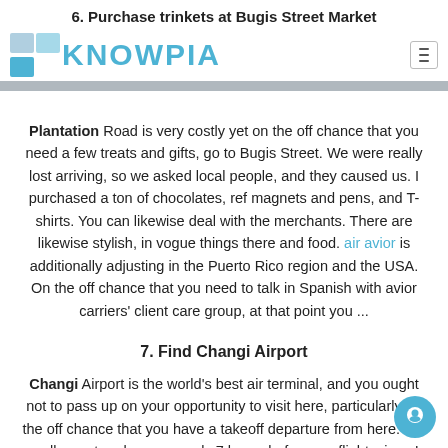6. Purchase trinkets at Bugis Street Market
[Figure (logo): Knowpia logo with blue geometric K icon and teal KNOWPIA text, hamburger menu icon on right]
Plantation Road is very costly yet on the off chance that you need a few treats and gifts, go to Bugis Street. We were really lost arriving, so we asked local people, and they caused us. I purchased a ton of chocolates, ref magnets and pens, and T-shirts. You can likewise deal with the merchants. There are likewise stylish, in vogue things there and food. air avior is additionally adjusting in the Puerto Rico region and the USA. On the off chance that you need to talk in Spanish with avior carriers' client care group, at that point you ...
7. Find Changi Airport
Changi Airport is the world's best air terminal, and you ought not to pass up on your opportunity to visit here, particularly on the off chance that you have a takeoff departure from here. We really went early, very nearly 7 hours before our flight, since I needed to visit all the terminals. Moving from one terminal to another is free. I was so fortunate there was likewise a Harry Potter set-up and we visited there. Be a visit, they do amazing things in the ...